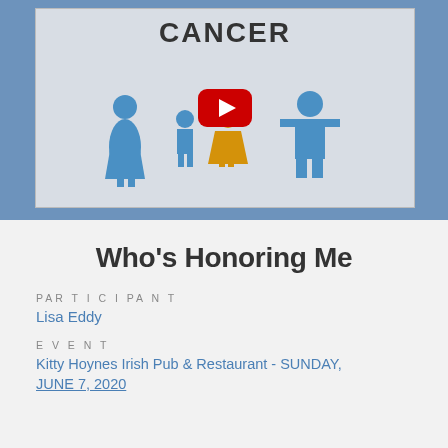[Figure (screenshot): YouTube video thumbnail showing the word CANCER at top, a family of four people icons (three blue, one yellow child) with a YouTube play button overlay in the center, on a light gray background]
Who's Honoring Me
PARTICIPANT
Lisa Eddy
EVENT
Kitty Hoynes Irish Pub & Restaurant - SUNDAY, JUNE 7, 2020